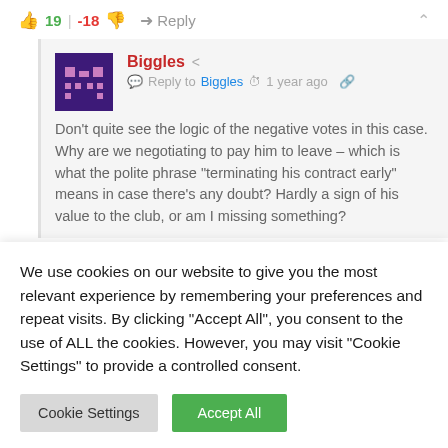👍 19 | -18 👎 → Reply ∧
[Figure (illustration): Pixel art avatar of a purple/pink space invader creature on dark purple background]
Biggles 🔗 Reply to Biggles 🕐 1 year ago 🔗
Don't quite see the logic of the negative votes in this case. Why are we negotiating to pay him to leave – which is what the polite phrase "terminating his contract early" means in case there's any doubt? Hardly a sign of his value to the club, or am I missing something?
We use cookies on our website to give you the most relevant experience by remembering your preferences and repeat visits. By clicking "Accept All", you consent to the use of ALL the cookies. However, you may visit "Cookie Settings" to provide a controlled consent.
Cookie Settings   Accept All